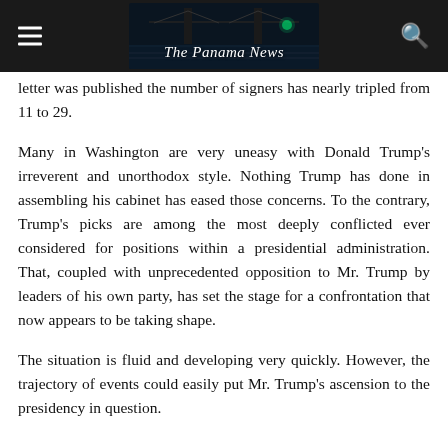The Panama News
letter was published the number of signers has nearly tripled from 11 to 29.
Many in Washington are very uneasy with Donald Trump's irreverent and unorthodox style. Nothing Trump has done in assembling his cabinet has eased those concerns. To the contrary, Trump's picks are among the most deeply conflicted ever considered for positions within a presidential administration. That, coupled with unprecedented opposition to Mr. Trump by leaders of his own party, has set the stage for a confrontation that now appears to be taking shape.
The situation is fluid and developing very quickly. However, the trajectory of events could easily put Mr. Trump's ascension to the presidency in question.